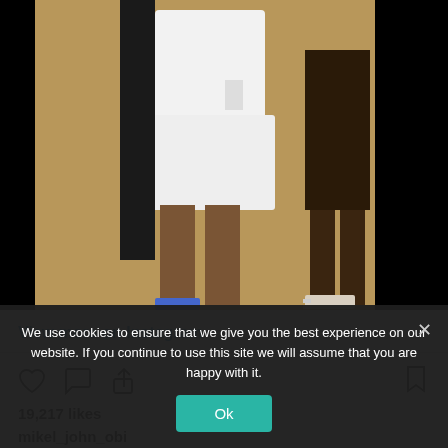[Figure (photo): Instagram photo showing people standing on sandy ground; one person wearing white t-shirt and white shorts with Adidas logo, another person with sandals visible. Black borders on left and right sides of image.]
View more on Instagram
[Figure (infographic): Instagram action icons: heart (like), comment bubble, share arrow, and bookmark icon]
19,217 likes
mikel_john_obi
Yesterday I went #back2base to surprise the kids at Evans
We use cookies to ensure that we give you the best experience on our website. If you continue to use this site we will assume that you are happy with it.
Ok